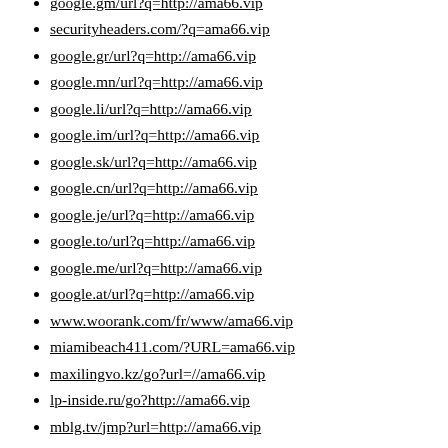google.gm/url?q=http://ama66.vip
securityheaders.com/?q=ama66.vip
google.gr/url?q=http://ama66.vip
google.mn/url?q=http://ama66.vip
google.li/url?q=http://ama66.vip
google.im/url?q=http://ama66.vip
google.sk/url?q=http://ama66.vip
google.cn/url?q=http://ama66.vip
google.je/url?q=http://ama66.vip
google.to/url?q=http://ama66.vip
google.me/url?q=http://ama66.vip
google.at/url?q=http://ama66.vip
www.woorank.com/fr/www/ama66.vip
miamibeach411.com/?URL=ama66.vip
maxilingvo.kz/go?url=//ama66.vip
lp-inside.ru/go?http://ama66.vip
mblg.tv/jmp?url=http://ama66.vip
liki.clan.su/go?http://ama66.vip
cage.report/www.php?to=ama66.vip